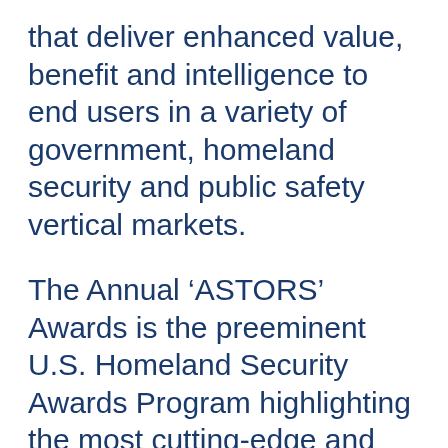that deliver enhanced value, benefit and intelligence to end users in a variety of government, homeland security and public safety vertical markets.
The Annual ‘ASTORS’ Awards is the preeminent U.S. Homeland Security Awards Program highlighting the most cutting-edge and forward-thinking security solutions coming onto